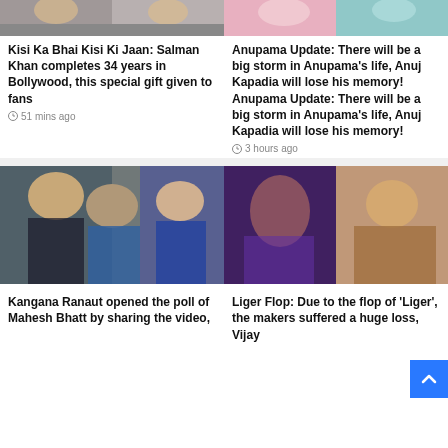[Figure (photo): Top partial image strip - left column, shows faces of Bollywood celebrities]
Kisi Ka Bhai Kisi Ki Jaan: Salman Khan completes 34 years in Bollywood, this special gift given to fans
51 mins ago
[Figure (photo): Top partial image strip - right column, shows a person in pink/teal clothing]
Anupama Update: There will be a big storm in Anupama's life, Anuj Kapadia will lose his memory! Anupama Update: There will be a big storm in Anupama’s life, Anuj Kapadia will lose his memory!
3 hours ago
[Figure (photo): Photo of Kangana Ranaut, Mahesh Bhatt and another woman]
Kangana Ranaut opened the poll of Mahesh Bhatt by sharing the video,
[Figure (photo): Two images side by side - movie still from Liger and actor Vijay Deverakonda]
Liger Flop: Due to the flop of ‘Liger’, the makers suffered a huge loss, Vijay